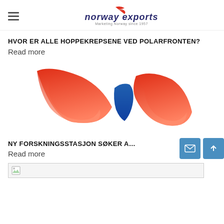norway exports — Marketing Norway since 1957
HVOR ER ALLE HOPPEKREPSENE VED POLARFRONTEN?
Read more
[Figure (logo): Norway Exports logo — large stylized swoosh shapes in red-orange gradient and blue]
NY FORSKNINGSSTASJON SØKER AUTOMATIKE
Read more
[Figure (other): Broken/missing image placeholder]